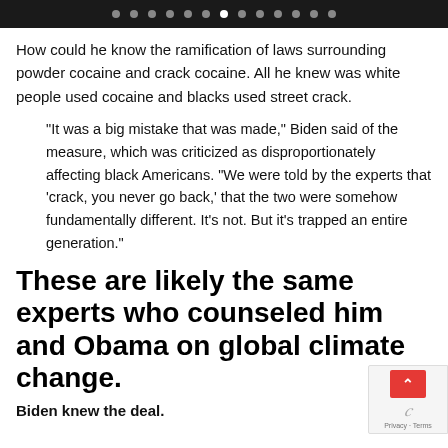navigation dots bar
How could he know the ramification of laws surrounding powder cocaine and crack cocaine. All he knew was white people used cocaine and blacks used street crack.
“It was a big mistake that was made,” Biden said of the measure, which was criticized as disproportionately affecting black Americans. “We were told by the experts that ‘crack, you never go back,’ that the two were somehow fundamentally different. It’s not. But it’s trapped an entire generation.”
These are likely the same experts who counseled him and Obama on global climate change.
Biden knew the deal.